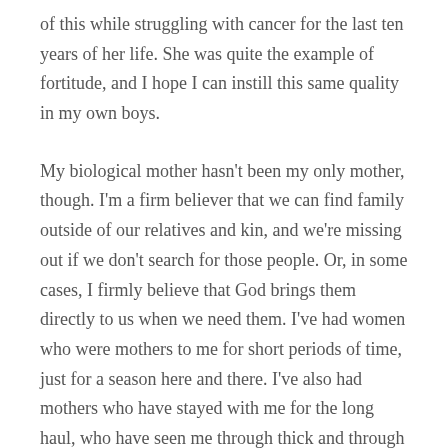of this while struggling with cancer for the last ten years of her life. She was quite the example of fortitude, and I hope I can instill this same quality in my own boys.
My biological mother hasn't been my only mother, though. I'm a firm believer that we can find family outside of our relatives and kin, and we're missing out if we don't search for those people. Or, in some cases, I firmly believe that God brings them directly to us when we need them. I've had women who were mothers to me for short periods of time, just for a season here and there. I've also had mothers who have stayed with me for the long haul, who have seen me through thick and through thin.
Some of the best mothers I've had were ones who